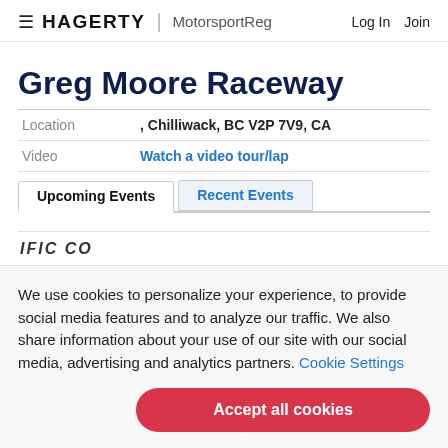≡ HAGERTY | MotorsportReg    Log In   Join
Greg Moore Raceway
|  |  |
| --- | --- |
| Location | , Chilliwack, BC V2P 7V9, CA |
| Video | Watch a video tour/lap |
Upcoming Events  |  Recent Events
[Figure (logo): Partial logo text reading 'IFIC CO' (cropped)]
We use cookies to personalize your experience, to provide social media features and to analyze our traffic. We also share information about your use of our site with our social media, advertising and analytics partners. Cookie Settings
Accept all cookies